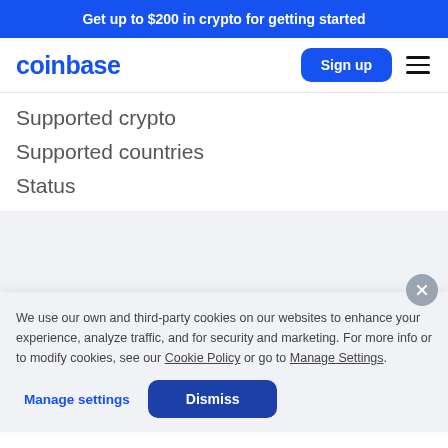Get up to $200 in crypto for getting started
[Figure (logo): Coinbase logo in blue text]
Supported crypto
Supported countries
Status
We use our own and third-party cookies on our websites to enhance your experience, analyze traffic, and for security and marketing. For more info or to modify cookies, see our Cookie Policy or go to Manage Settings.
Manage settings
Dismiss